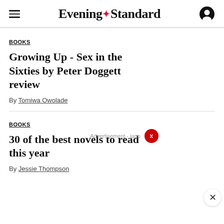Evening Standard
BOOKS
Growing Up - Sex in the Sixties by Peter Doggett review
By Tomiwa Owolade
BOOKS
30 of the best novels to read this year
By Jessie Thompson